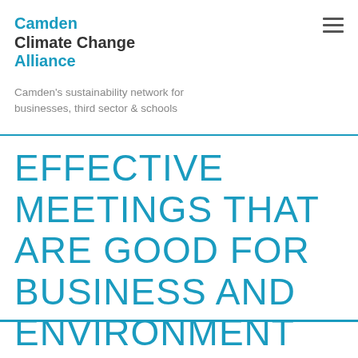Camden Climate Change Alliance
Camden's sustainability network for businesses, third sector & schools
EFFECTIVE MEETINGS THAT ARE GOOD FOR BUSINESS AND ENVIRONMENT